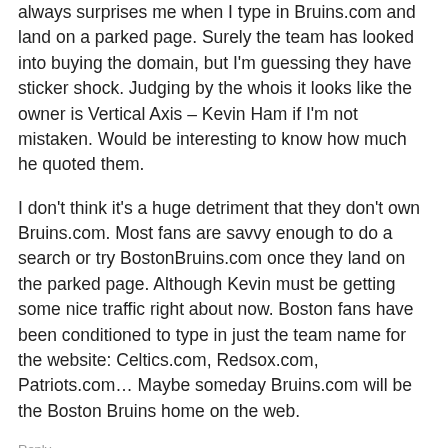... Being a Boston sports fan, it always surprises me when I type in Bruins.com and land on a parked page. Surely the team has looked into buying the domain, but I'm guessing they have sticker shock. Judging by the whois it looks like the owner is Vertical Axis – Kevin Ham if I'm not mistaken. Would be interesting to know how much he quoted them.
I don't think it's a huge detriment that they don't own Bruins.com. Most fans are savvy enough to do a search or try BostonBruins.com once they land on the parked page. Although Kevin must be getting some nice traffic right about now. Boston fans have been conditioned to type in just the team name for the website: Celtics.com, Redsox.com, Patriots.com… Maybe someday Bruins.com will be the Boston Bruins home on the web.
Reply